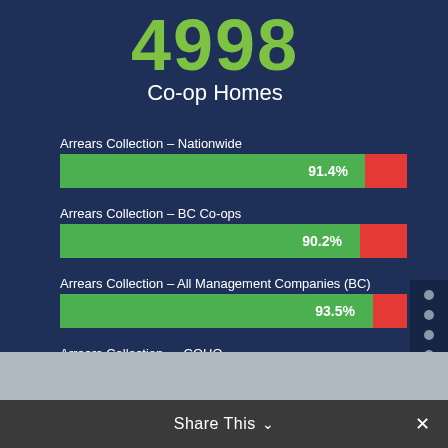4998
Co-op Homes
[Figure (bar-chart): Arrears Collection – Nationwide / BC Co-ops / All Management Companies (BC) / COHO]
Share This ∨
×